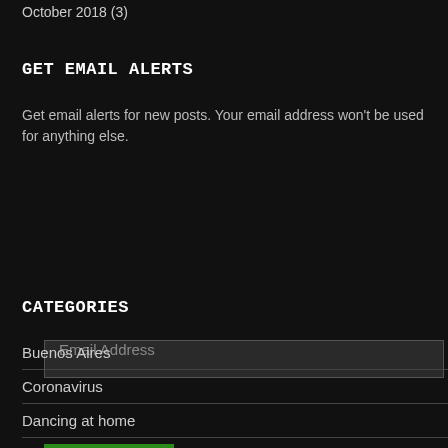October 2018 (3)
GET EMAIL ALERTS
Get email alerts for new posts. Your email address won't be used for anything else.
Email Address
FOLLOW
CATEGORIES
Buenos Aires
Coronavirus
Dancing at home